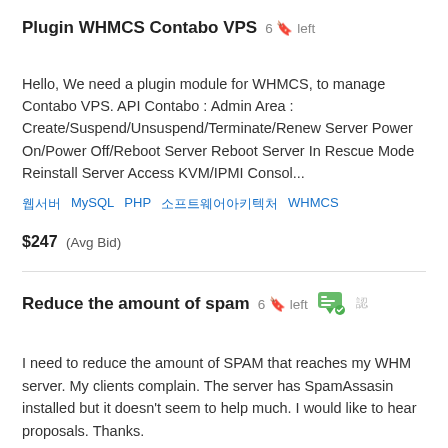Plugin WHMCS Contabo VPS  6 🔖 left
Hello, We need a plugin module for WHMCS, to manage Contabo VPS. API Contabo : Admin Area : Create/Suspend/Unsuspend/Terminate/Renew Server Power On/Power Off/Reboot Server Reboot Server In Rescue Mode Reinstall Server Access KVM/IPMI Consol...
🔧  MySQL  PHP  🔧 🔧🔧🔧  WHMCS
$247  (Avg Bid)
Reduce the amount of spam  6 🔖 left
I need to reduce the amount of SPAM that reaches my WHM server. My clients complain. The server has SpamAssasin installed but it doesn't seem to help much. I would like to hear proposals. Thanks.
CentOs  cPanel  🔧🔧🔧  🔧🔧🔧 🔧🔧🔧🔧  WHMCS
$27  (Avg Bid)